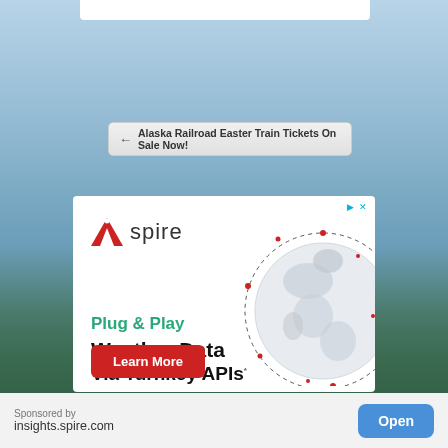← Alaska Railroad Easter Train Tickets On Sale Now!
[Figure (infographic): Spire advertisement banner: logo with red triangle and 'spire' text, globe graphic with red dots, text 'Plug & Play Weather Data Via Turnkey APIs', red 'Learn More' button]
Sponsored by insights.spire.com
Open